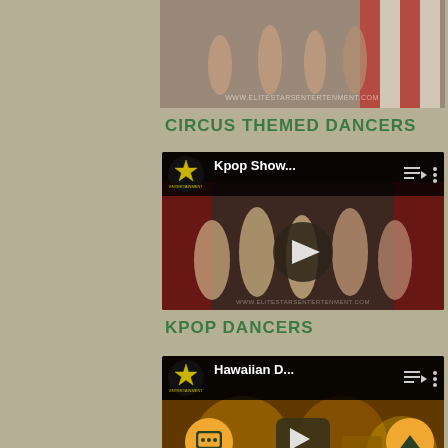[Figure (screenshot): Top partial video thumbnail showing circus performers/dancers with red and white striped backdrop, with watermark text]
CIRCUS THEMED DANCERS
[Figure (screenshot): YouTube video embed showing Kpop Show dancers with logo and play button. Title reads 'Kpop Show...' with playlist and options icons visible.]
KPOP DANCERS
[Figure (screenshot): YouTube video embed showing Hawaiian D... dancers with logo and play button. Chat and scroll-to-top buttons visible at bottom corners.]